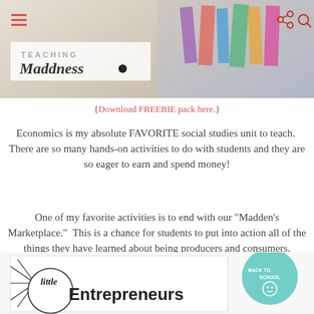[Figure (photo): Teaching Maddeness blog header image with colorful craft supplies and logo]
{Download FREEBIE pack here.}
Economics is my absolute FAVORITE social studies unit to teach.  There are so many hands-on activities to do with students and they are so eager to earn and spend money!
One of my favorite activities is to end with our "Madden's Marketplace."  This is a chance for students to put into action all of the things they have learned about being producers and consumers.
[Figure (photo): Little Entrepreneurs product image with line-art logo and Back to School badge]